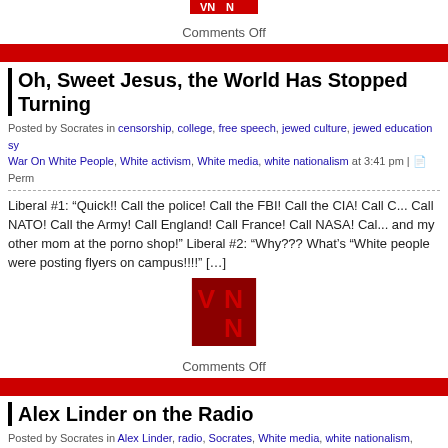[Figure (logo): VNN logo - red square with VN N letters in red on dark background (partial, top of page)]
Comments Off
[Figure (other): Red horizontal bar divider]
Oh, Sweet Jesus, the World Has Stopped Turning
Posted by Socrates in censorship, college, free speech, jewed culture, jewed education sy... War On White People, White activism, White media, white nationalism at 3:41 pm | Perm...
Liberal #1: “Quick!! Call the police! Call the FBI! Call the CIA! Call C... Call NATO! Call the Army! Call England! Call France! Call NASA! Cal... and my other mom at the porno shop!” Liberal #2: “Why??? What’s “White people were posting flyers on campus!!!!” […]
[Figure (logo): VNN logo - red square with VN N letters]
Comments Off
[Figure (other): Red horizontal bar divider]
Alex Linder on the Radio
Posted by Socrates in Alex Linder, radio, Socrates, White media, white nationalism, White... Permanent Link
Alex, Monica and Jan on the radio, recorded Dec. 13th. [Webpage wi... hour, 43 minutes].